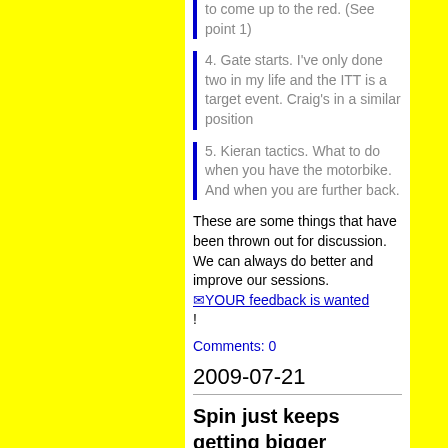to come up to the red. (See point 1)
4. Gate starts. I've only done two in my life and the ITT is a target event. Craig's in a similar position
5. Kieran tactics. What to do when you have the motorbike. And when you are further back.
These are some things that have been thrown out for discussion.  We can always do better and improve our sessions. ✉YOUR feedback is wanted !
Comments: 0
2009-07-21
Spin just keeps getting bigger